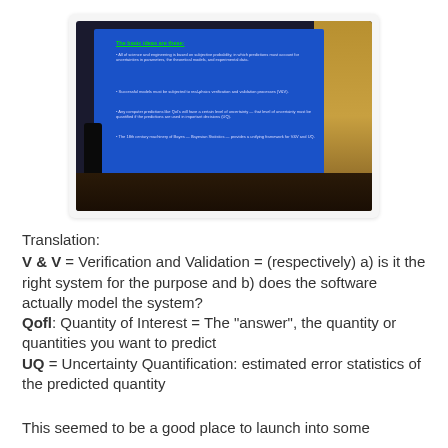[Figure (photo): Photograph of a presenter on stage in an auditorium, with a blue slide projected on screen. The slide is titled 'The basic ideas are these:' and contains bullet points about V&V, UQ, and Bayesian statistics.]
Translation:
V & V = Verification and Validation = (respectively) a) is it the right system for the purpose and b) does the software actually model the system?
Qofl: Quantity of Interest = The "answer", the quantity or quantities you want to predict
UQ = Uncertainty Quantification: estimated error statistics of the predicted quantity
This seemed to be a good place to launch into some